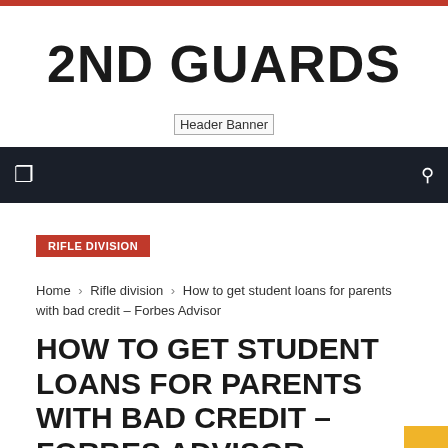2ND GUARDS
[Figure (other): Header Banner placeholder image]
RIFLE DIVISION
Home › Rifle division › How to get student loans for parents with bad credit – Forbes Advisor
HOW TO GET STUDENT LOANS FOR PARENTS WITH BAD CREDIT – FORBES ADVISOR